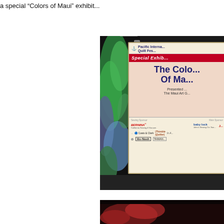a special “Colors of Maui” exhibit...
[Figure (photo): Photo of a Pacific International Quilt Festival 'Special Exhibit: The Colors of Maui, Presented by The Maui Art Guild' sign mounted on a dark display wall, with a colorful quilt visible on the left side. Sponsor logos visible at the bottom including BERNINA, baby lock, Coats & Clark, Thimble, Bo-Nash, and Taiwan.]
[Figure (photo): Partial bottom photo showing dark background with what appears to be colorful fabric or quilt.]